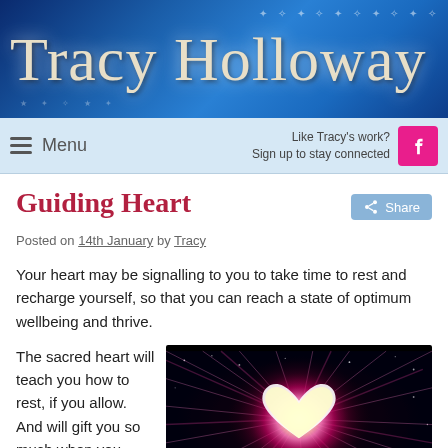Tracy Holloway
Menu | Like Tracy's work? Sign up to stay connected
Guiding Heart
Posted on 14th January by Tracy
Your heart may be signalling to you to take time to rest and recharge yourself, so that you can reach a state of optimum wellbeing and thrive.
The sacred heart will teach you how to rest, if you allow. And will gift you so much when you learn to think less and instead listen to the
[Figure (photo): Glowing heart shape with pink and magenta light rays bursting outward against a dark starry background]